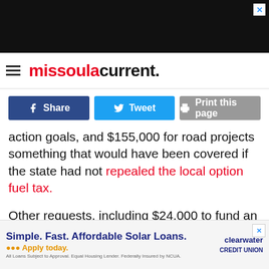[Figure (other): Top black advertisement banner with close X button]
missoula current.
[Figure (other): Social sharing buttons: Share (Facebook, blue), Tweet (Twitter, light blue), Print this page (gray)]
action goals, and $155,000 for road projects something that would have been covered if the state had not repealed the local option fuel tax.
Other requests, including $24,000 to fund an economic analysis around passenger rail and $100,000 for the county's radio communications tower, will come from cash savings from prior years. Around $2.7 million in
[Figure (other): Bottom advertisement: Simple. Fast. Affordable Solar Loans. Apply today. Clearwater Credit Union.]